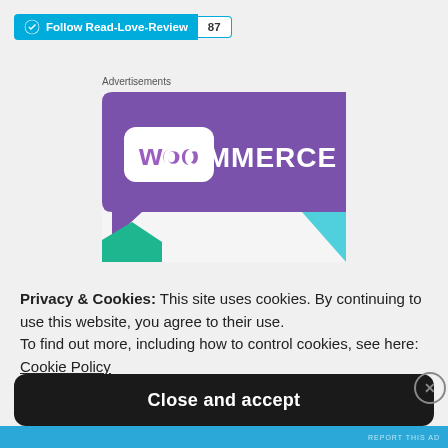[Figure (screenshot): WordPress Follow button with 'Follow Read-Love-Review' text and follower count badge showing 87]
Advertisements
[Figure (logo): WooCommerce logo advertisement banner with purple background, speech bubble shape, teal and cyan triangles]
Privacy & Cookies: This site uses cookies. By continuing to use this website, you agree to their use. To find out more, including how to control cookies, see here: Cookie Policy
[Figure (screenshot): Close and accept button (dark/black rounded rectangle) with X dismiss button]
[Figure (screenshot): Bottom blue strip with partial image visible]